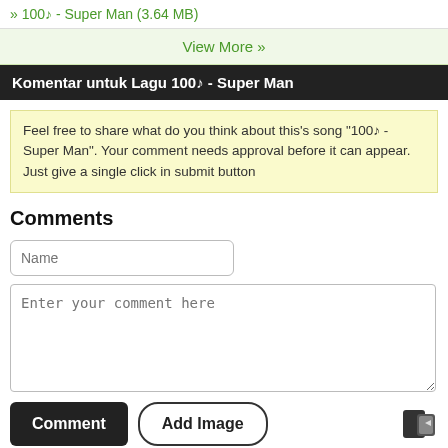» 100♪ - Super Man (3.64 MB)
View More »
Komentar untuk Lagu 100♪ - Super Man
Feel free to share what do you think about this's song "100♪ - Super Man". Your comment needs approval before it can appear. Just give a single click in submit button
Comments
Name
Enter your comment here
Comment   Add Image
Not using Html Comment Box yet?